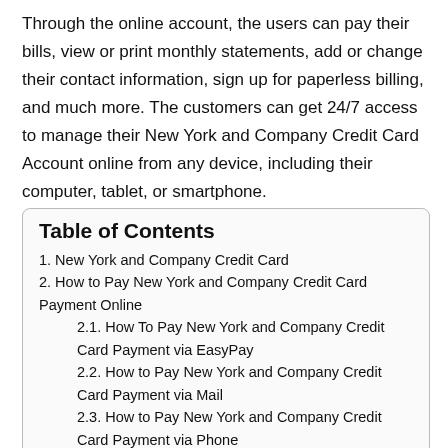Through the online account, the users can pay their bills, view or print monthly statements, add or change their contact information, sign up for paperless billing, and much more. The customers can get 24/7 access to manage their New York and Company Credit Card Account online from any device, including their computer, tablet, or smartphone.
| Table of Contents |
| 1. New York and Company Credit Card |
| 2. How to Pay New York and Company Credit Card Payment Online |
| 2.1. How To Pay New York and Company Credit Card Payment via EasyPay |
| 2.2. How to Pay New York and Company Credit Card Payment via Mail |
| 2.3. How to Pay New York and Company Credit Card Payment via Phone |
| 2.4. New York and Company Credit Card Customer Service |